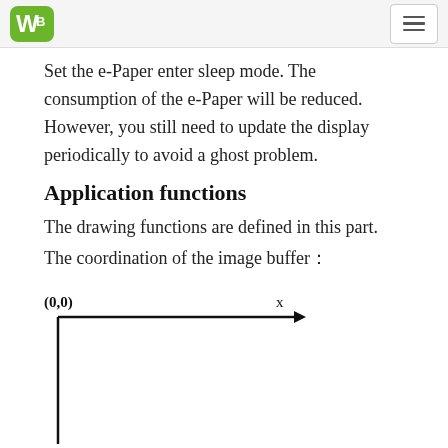WS logo and navigation
Set the e-Paper enter sleep mode. The consumption of the e-Paper will be reduced. However, you still need to update the display periodically to avoid a ghost problem.
Application functions
The drawing functions are defined in this part.
The coordination of the image buffer：
[Figure (engineering-diagram): Coordinate system diagram showing origin at (0,0) with x-axis arrow pointing right and y-axis arrow pointing downward, forming an L-shaped coordinate frame.]